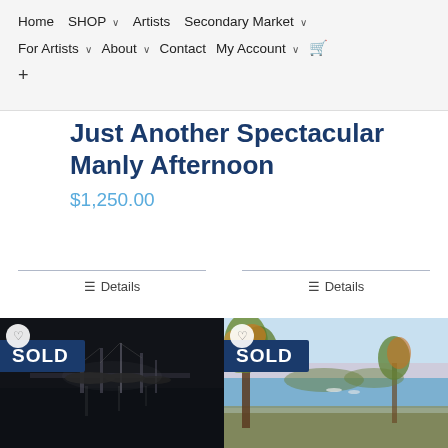Home  SHOP  Artists  Secondary Market  For Artists  About  Contact  My Account  +
Just Another Spectacular Manly Afternoon
$1,250.00
Details
Details
[Figure (photo): Black and white night photograph of a marina with boats and masts reflected in dark water, with a SOLD badge overlay]
[Figure (photo): Painting of Australian landscape with gum trees and blue water/sky in background, with a SOLD badge overlay]